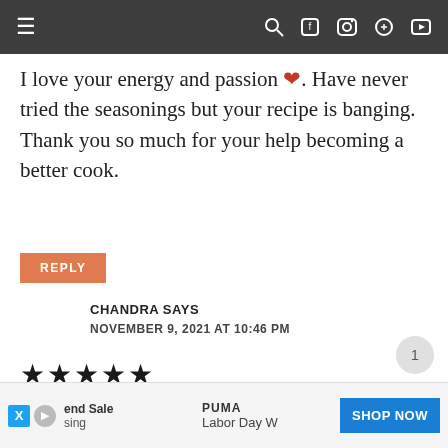Navigation bar with hamburger menu and social icons (search, facebook, instagram, pinterest, youtube)
I love your energy and passion ❤. Have never tried the seasonings but your recipe is banging. Thank you so much for your help becoming a better cook.
REPLY
CHANDRA SAYS
NOVEMBER 9, 2021 AT 10:46 PM
★★★★★
Rosie, I've tried several of your recipes